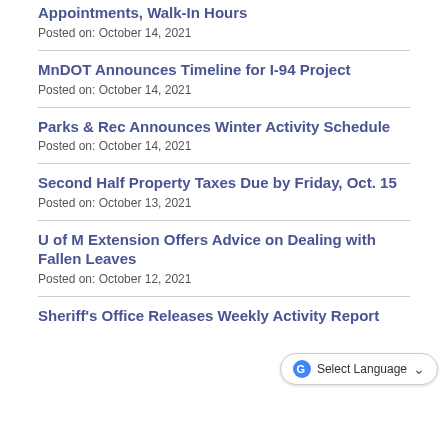Appointments, Walk-In Hours
Posted on: October 14, 2021
MnDOT Announces Timeline for I-94 Project
Posted on: October 14, 2021
Parks & Rec Announces Winter Activity Schedule
Posted on: October 14, 2021
Second Half Property Taxes Due by Friday, Oct. 15
Posted on: October 13, 2021
U of M Extension Offers Advice on Dealing with Fallen Leaves
Posted on: October 12, 2021
Sheriff's Office Releases Weekly Activity Report